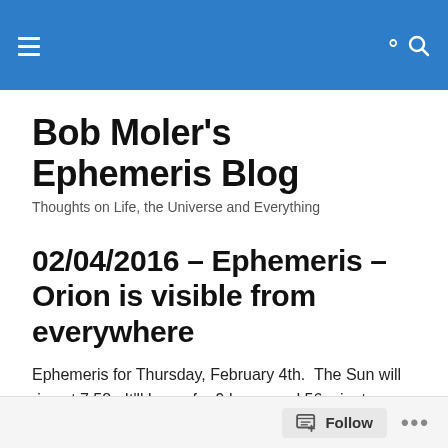Bob Moler's Ephemeris Blog [navigation bar]
Bob Moler's Ephemeris Blog
Thoughts on Life, the Universe and Everything
02/04/2016 – Ephemeris – Orion is visible from everywhere
Ephemeris for Thursday, February 4th.  The Sun will rise at 7:58.  It'll be up for 9 hours and 56 minutes, setting at 5:55.   The Moon, half way from last quarter to new, will
Follow